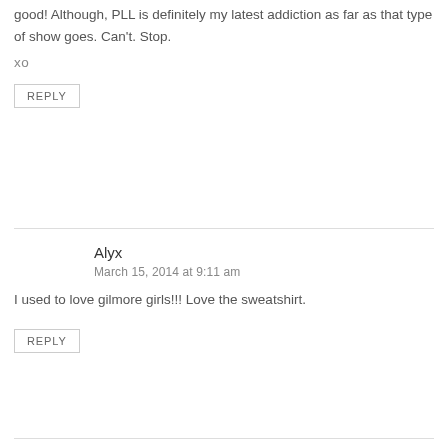good! Although, PLL is definitely my latest addiction as far as that type of show goes. Can't. Stop.
xo
REPLY
Alyx
March 15, 2014 at 9:11 am
I used to love gilmore girls!!! Love the sweatshirt.
REPLY